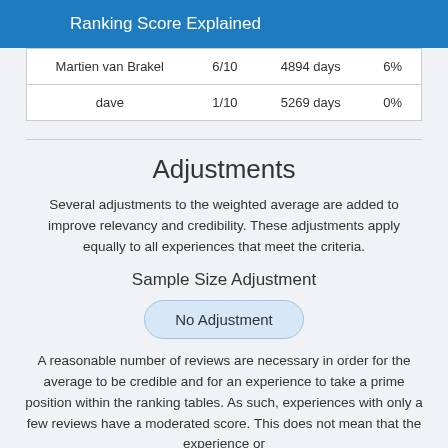Ranking Score Explained
| Martien van Brakel | 6/10 | 4894 days | 6% |
| dave | 1/10 | 5269 days | 0% |
Adjustments
Several adjustments to the weighted average are added to improve relevancy and credibility. These adjustments apply equally to all experiences that meet the criteria.
Sample Size Adjustment
No Adjustment
A reasonable number of reviews are necessary in order for the average to be credible and for an experience to take a prime position within the ranking tables. As such, experiences with only a few reviews have a moderated score. This does not mean that the experience or other experiences didn't meet criteria. The Automatic Algorithm uses a